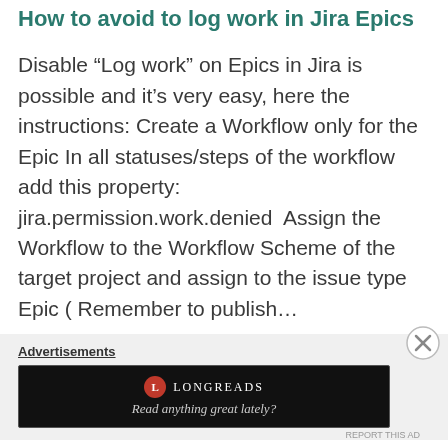How to avoid to log work in Jira Epics
Disable “Log work” on Epics in Jira is possible and it’s very easy, here the instructions: Create a Workflow only for the Epic In all statuses/steps of the workflow add this property: jira.permission.work.denied  Assign the Workflow to the Workflow Scheme of the target project and assign to the issue type Epic ( Remember to publish…
Advertisements
[Figure (logo): Longreads advertisement banner with logo and tagline 'Read anything great lately?']